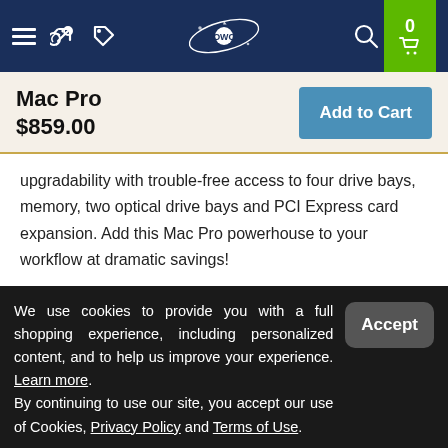[Figure (screenshot): OWC website navigation bar with dark blue background, hamburger menu, tag icon, OWC logo, search icon, and green cart button showing 0 items]
Mac Pro
$859.00
Add to Cart
upgradability with trouble-free access to four drive bays, memory, two optical drive bays and PCI Express card expansion. Add this Mac Pro powerhouse to your workflow at dramatic savings!
We use cookies to provide you with a full shopping experience, including personalized content, and to help us improve your experience. Learn more.
By continuing to use our site, you accept our use of Cookies, Privacy Policy and Terms of Use.